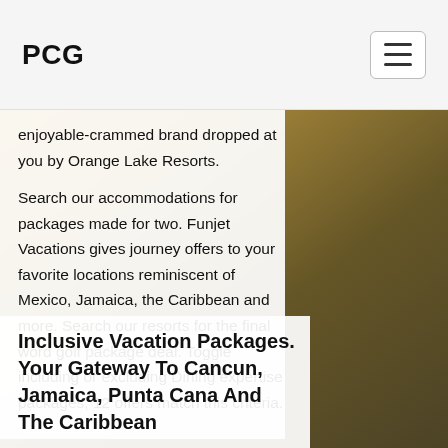PCG
enjoyable-crammed brand dropped at you by Orange Lake Resorts.
Search our accommodations for packages made for two. Funjet Vacations gives journey offers to your favorite locations reminiscent of Mexico, Jamaica, the Caribbean and more. Search our resorts for the final word golf package deal. Toggle including or excluding Dining expertise packages, 12 offers match this criteria.
Inclusive Vacation Packages. Your Gateway To Cancun, Jamaica, Punta Cana And The Caribbean